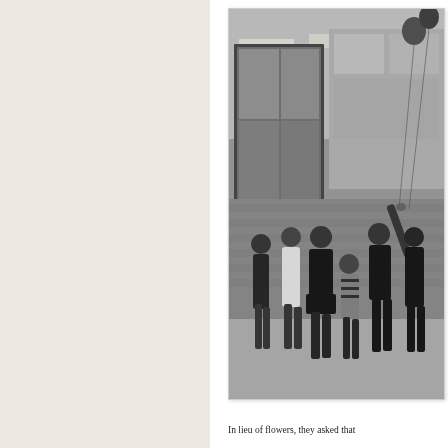[Figure (photo): Black and white photograph of a group of people standing outside a building with large glass windows and brick walls, looking upward. Some are reaching up toward balloons. The scene appears to be a memorial balloon release outside an office or school building.]
In lieu of flowers, they asked that